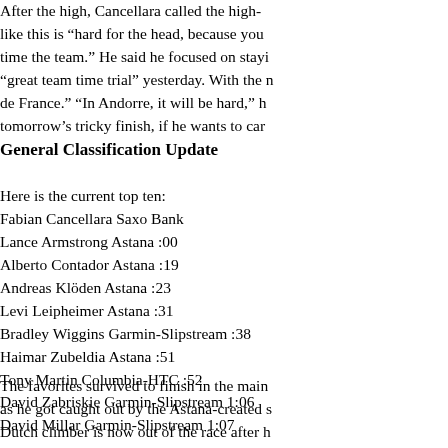After the stage, Cancellara called the high-speed finale this is "hard for the head, because you time the team." He said he focused on staying "great team time trial" yesterday. With the n de France." "In Andorre, it will be hard," h tomorrow's tricky finish, if he wants to carr
General Classification Update
Here is the current top ten:
Fabian Cancellara Saxo Bank
Lance Armstrong Astana :00
Alberto Contador Astana :19
Andreas Klöden Astana :23
Levi Leipheimer Astana :31
Bradley Wiggins Garmin-Slipstream :38
Haimar Zubeldia Astana :51
Tony Martin Columbia-HTC :52
David Zabriskie Garmin-Slipstream 1:06
David Millar Garmin-Slipstream 1:07
The favorites survived to finish in the main as he got caught out by the Astana-created s Dutch climber is now out of the race after h